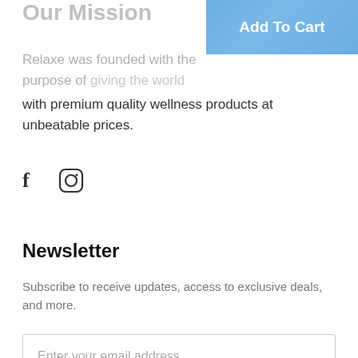Our Mission
[Figure (other): Add To Cart button overlay in the top right corner with blue gradient background]
Relaxe was founded with the purpose of giving the world with premium quality wellness products at unbeatable prices.
[Figure (other): Social media icons: Facebook (f) and Instagram (circle with camera icon)]
Newsletter
Subscribe to receive updates, access to exclusive deals, and more.
Enter your email address
Subscribe